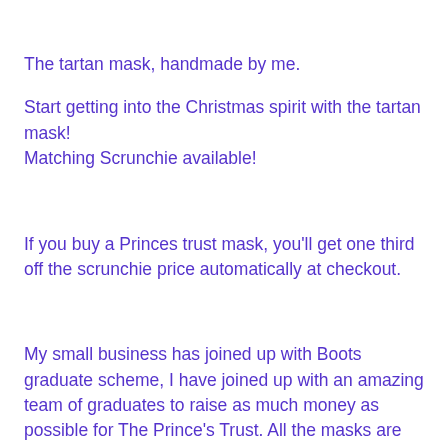The tartan mask, handmade by me.
Start getting into the Christmas spirit with the tartan mask! Matching Scrunchie available!
If you buy a Princes trust mask, you'll get one third off the scrunchie price automatically at checkout.
My small business has joined up with Boots graduate scheme, I have joined up with an amazing team of graduates to raise as much money as possible for The Prince's Trust. All the masks are handmade by me and designed to support this amazing charity.
The Prince's Trust is an amazing charity that help train young